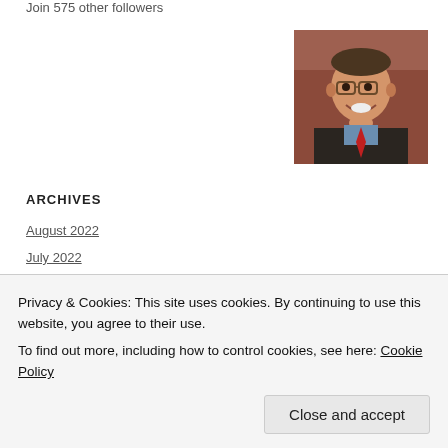Join 575 other followers
[Figure (photo): Portrait photo of a smiling middle-aged man wearing glasses, a dark vest, blue shirt, and red tie, with his hand raised to his chin]
ARCHIVES
August 2022
July 2022
June 2022
Privacy & Cookies: This site uses cookies. By continuing to use this website, you agree to their use.
To find out more, including how to control cookies, see here: Cookie Policy
December 2021